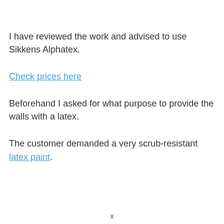I have reviewed the work and advised to use Sikkens Alphatex.
Check prices here
Beforehand I asked for what purpose to provide the walls with a latex.
The customer demanded a very scrub-resistant latex paint.
x